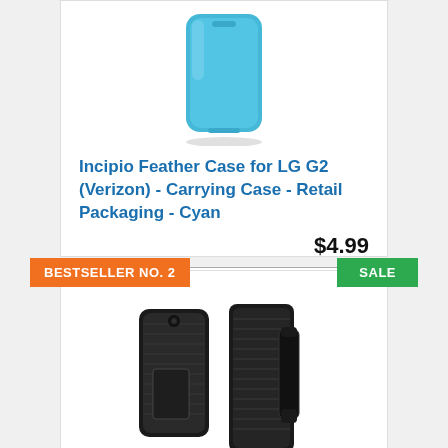[Figure (photo): Cyan Incipio Feather phone case product image]
Incipio Feather Case for LG G2 (Verizon) - Carrying Case - Retail Packaging - Cyan
$4.99
Buy on Amazon
BESTSELLER NO. 2
SALE
[Figure (photo): Black rugged phone case with holster clip product image]